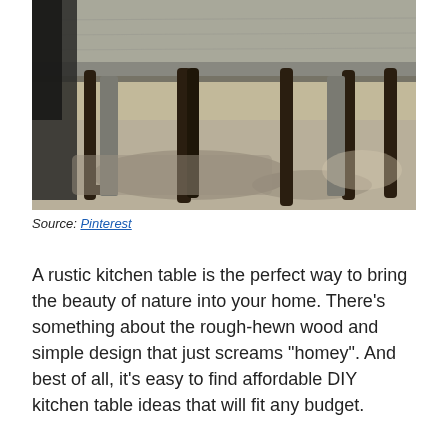[Figure (photo): A rustic wooden dining table with dark metal/wooden chair legs visible underneath, shot from a low angle showing the underside structure of the table. The floor has a beige/grey rug or concrete surface. A dark jacket or coat hangs on the left side.]
Source: Pinterest
A rustic kitchen table is the perfect way to bring the beauty of nature into your home. There’s something about the rough-hewn wood and simple design that just screams “homey”. And best of all, it’s easy to find affordable DIY kitchen table ideas that will fit any budget.